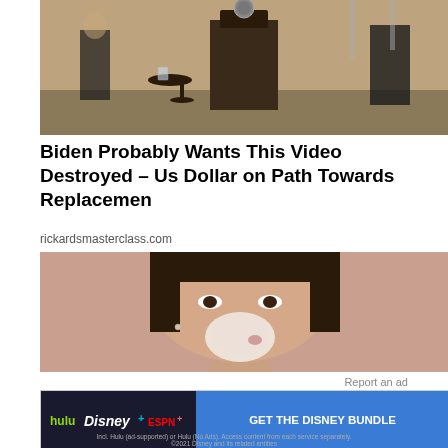[Figure (photo): A photo showing a presidential podium with the presidential seal, a small side table with a glass of water, and figures in the background]
Biden Probably Wants This Video Destroyed – Us Dollar on Path Towards Replacemen
rickardsmasterclass.com
[Figure (photo): Close-up photo of a person's face with a white/pink substance applied to their nose area, possibly a skincare or medical product]
Report an ad
[Figure (other): Disney Bundle advertisement banner featuring Hulu, Disney+, and ESPN+ logos with a blue 'GET THE DISNEY BUNDLE' call-to-action button. Fine print: Incl. Hulu (ad-supported) or Hulu (No Ads). Access content from each service separately. ©2021 Disney and its related entities]